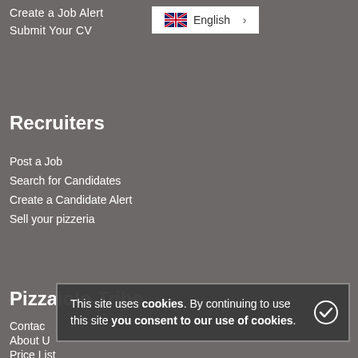Create a Job Alert
Submit Your CV
[Figure (other): UK flag language selector button showing English with arrow]
Recruiters
Post a Job
Search for Candidates
Create a Candidate Alert
Sell your pizzeria
Pizzaiolo Tribe
Contact
About U
Price List
This site uses cookies. By continuing to use this site you consent to our use of cookies.